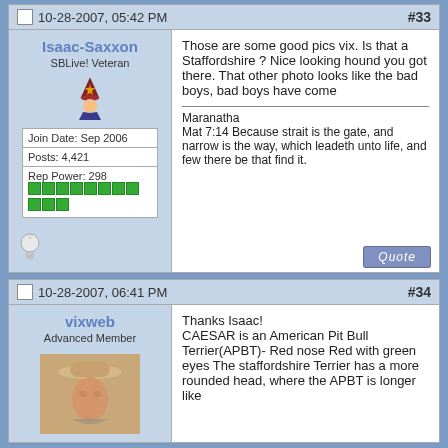10-28-2007, 05:42 PM  #33
Isaac-Saxxon
SBLive! Veteran
Join Date: Sep 2006
Posts: 4,421
Rep Power: 298
Those are some good pics vix. Is that a Staffordshire ? Nice looking hound you got there. That other photo looks like the bad boys, bad boys have come

Maranatha
Mat 7:14 Because strait is the gate, and narrow is the way, which leadeth unto life, and few there be that find it.
10-28-2007, 06:41 PM  #34
vixweb
Advanced Member
Thanks Isaac!
CAESAR is an American Pit Bull Terrier(APBT)- Red nose Red with green eyes The staffordshire Terrier has a more rounded head, where the APBT is longer like